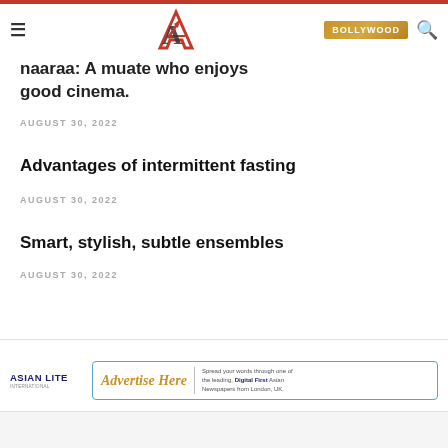BOLLYWOOD
naaraa: A mu...ate... who enjoys good cinema.
AUGUST 30, 2022
Advantages of intermittent fasting
AUGUST 30, 2022
Smart, stylish, subtle ensembles
AUGUST 30, 2022
[Figure (logo): Asian Lite newspaper logo and Advertise Here banner ad]
Asian Lite Newspapers — Advertise Here. Spread your words through one of the leading Digital First Asian Newspapers from London, UK.